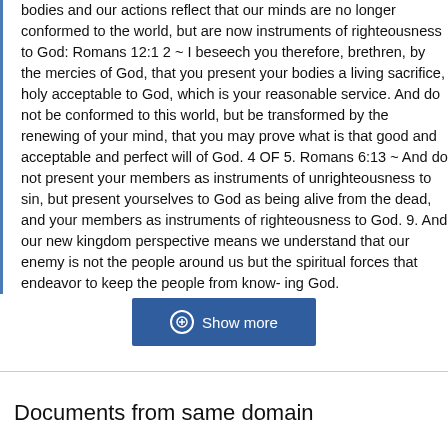bodies and our actions reflect that our minds are no longer conformed to the world, but are now instruments of righteousness to God: Romans 12:1 2 ~ I beseech you therefore, brethren, by the mercies of God, that you present your bodies a living sacrifice, holy acceptable to God, which is your reasonable service. And do not be conformed to this world, but be transformed by the renewing of your mind, that you may prove what is that good and acceptable and perfect will of God. 4 OF 5. Romans 6:13 ~ And do not present your members as instruments of unrighteousness to sin, but present yourselves to God as being alive from the dead, and your members as instruments of righteousness to God. 9. And our new kingdom perspective means we understand that our enemy is not the people around us but the spiritual forces that endeavor to keep the people from know- ing God.
Show more
Documents from same domain